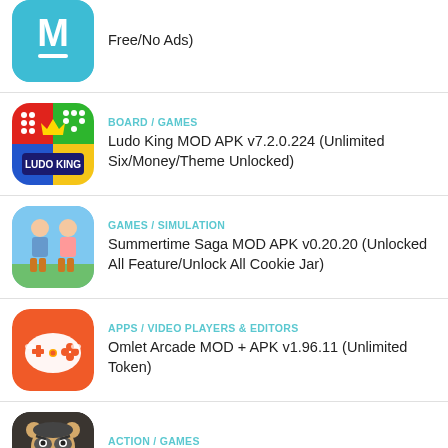Free/No Ads)
BOARD / GAMES
Ludo King MOD APK v7.2.0.224 (Unlimited Six/Money/Theme Unlocked)
GAMES / SIMULATION
Summertime Saga MOD APK v0.20.20 (Unlocked All Feature/Unlock All Cookie Jar)
APPS / VIDEO PLAYERS & EDITORS
Omlet Arcade MOD + APK v1.96.11 (Unlimited Token)
ACTION / GAMES
Zooba MOD APK v3.34.0 (Unlimited Gems/Skills)